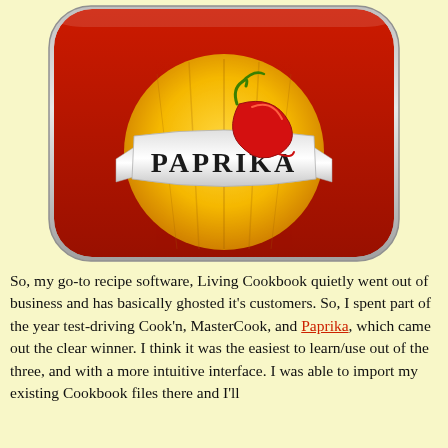[Figure (logo): Paprika recipe app icon — a red rounded-rectangle tin can lid with a silver banner reading PAPRIKA, an orange sun-like circle, and a red chili pepper on top.]
So, my go-to recipe software, Living Cookbook quietly went out of business and has basically ghosted it's customers. So, I spent part of the year test-driving Cook'n, MasterCook, and Paprika, which came out the clear winner. I think it was the easiest to learn/use out of the three, and with a more intuitive interface. I was able to import my existing Cookbook files there and I'll